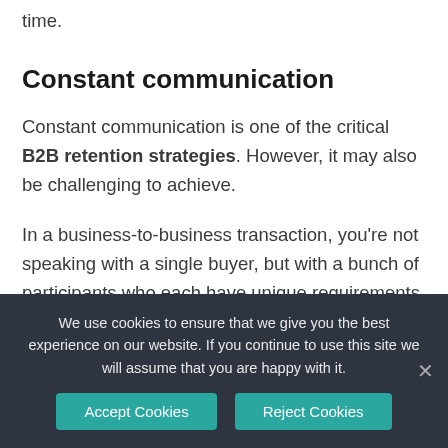time.
Constant communication
Constant communication is one of the critical B2B retention strategies. However, it may also be challenging to achieve.
In a business-to-business transaction, you're not speaking with a single buyer, but with a bunch of participants who each have unique requirements and
We use cookies to ensure that we give you the best experience on our website. If you continue to use this site we will assume that you are happy with it.